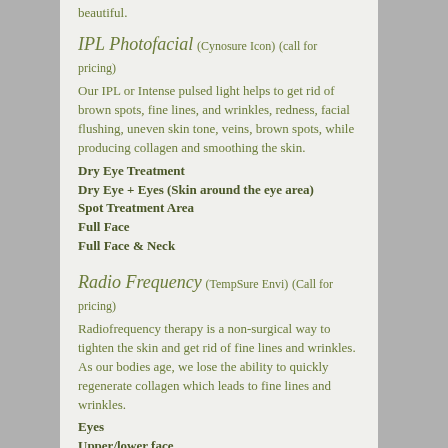beautiful.
IPL Photofacial (Cynosure Icon) (call for pricing)
Our IPL or Intense pulsed light helps to get rid of brown spots, fine lines, and wrinkles, redness, facial flushing, uneven skin tone, veins, brown spots, while producing collagen and smoothing the skin.
Dry Eye Treatment
Dry Eye + Eyes (Skin around the eye area)
Spot Treatment Area
Full Face
Full Face & Neck
Radio Frequency (TempSure Envi) (Call for pricing)
Radiofrequency therapy is a non-surgical way to tighten the skin and get rid of fine lines and wrinkles. As our bodies age, we lose the ability to quickly regenerate collagen which leads to fine lines and wrinkles.
Eyes
Upper/lower face
Full Face